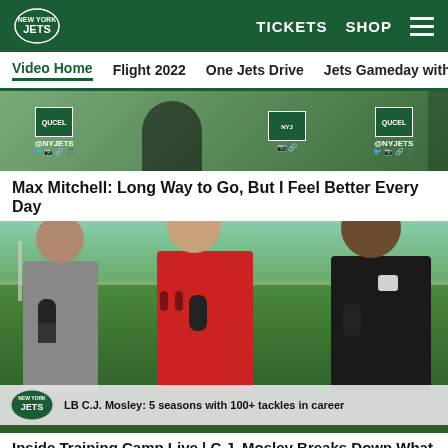New York Jets — TICKETS  SHOP
Video Home  Flight 2022  One Jets Drive  Jets Gameday with Ro
[Figure (screenshot): Partial video thumbnail showing @NYJETS branding on green background]
Max Mitchell: Long Way to Go, But I Feel Better Every Day
[Figure (photo): Three men seated outdoors at Jets training camp: interviewer in gray polo, host in red polo, LB C.J. Mosley in black t-shirt. Lower third reads: LB C.J. Mosley: 5 seasons with 100+ tackles in career]
Inside Training Camp Live | C.J. Mosley Breaks Down What He's Noticed from the Jets Rookies
[Figure (photo): Partial bottom video thumbnail on green background]